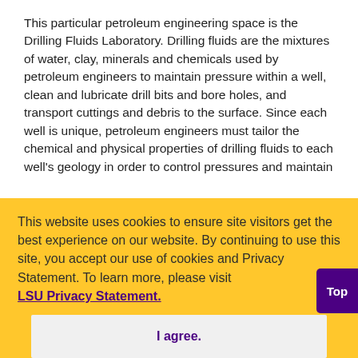This particular petroleum engineering space is the Drilling Fluids Laboratory. Drilling fluids are the mixtures of water, clay, minerals and chemicals used by petroleum engineers to maintain pressure within a well, clean and lubricate drill bits and bore holes, and transport cuttings and debris to the surface. Since each well is unique, petroleum engineers must tailor the chemical and physical properties of drilling fluids to each well's geology in order to control pressures and maintain ...and ...his ...ence ...work
This website uses cookies to ensure site visitors get the best experience on our website. By continuing to use this site, you accept our use of cookies and Privacy Statement. To learn more, please visit LSU Privacy Statement.
I agree.
Top
(2215)